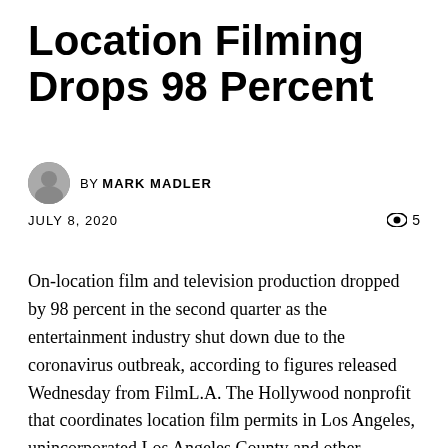Location Filming Drops 98 Percent
BY MARK MADLER
JULY 8, 2020   👁 5
On-location film and television production dropped by 98 percent in the second quarter as the entertainment industry shut down due to the coronavirus outbreak, according to figures released Wednesday from FilmL.A. The Hollywood nonprofit that coordinates location film permits in Los Angeles, unincorporated Los Angeles County and other jurisdictions handled only 194 on-location shoot days in April through June. That compares to 8,632 shoot days in the same period a year earlier. Film and television